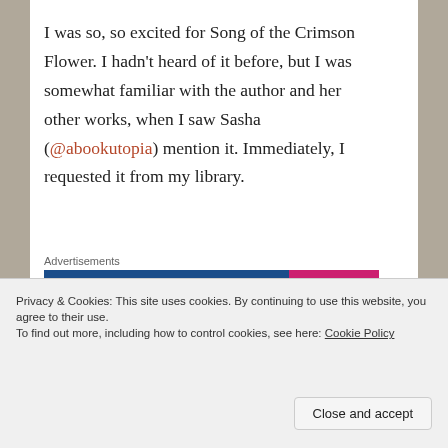I was so, so excited for Song of the Crimson Flower. I hadn't heard of it before, but I was somewhat familiar with the author and her other works, when I saw Sasha (@abookutopia) mention it. Immediately, I requested it from my library.
[Figure (screenshot): WordPress.com advertisement banner with blue background and pink 'Build Your Website' button]
The first few pages had me hooked. I felt as if I were actually in the story; the descriptions were beautiful and real. I felt for and with the characters. However, that really
Advertisements
Privacy & Cookies: This site uses cookies. By continuing to use this website, you agree to their use.
To find out more, including how to control cookies, see here: Cookie Policy
Close and accept